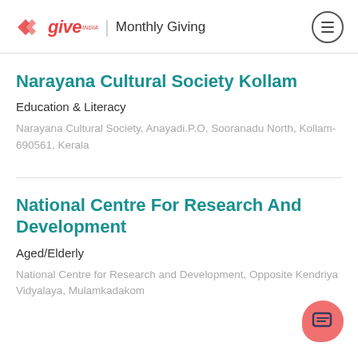give India | Monthly Giving
Narayana Cultural Society Kollam
Education & Literacy
Narayana Cultural Society, Anayadi.P.O, Sooranadu North, Kollam-690561, Kerala
National Centre For Research And Development
Aged/Elderly
National Centre for Research and Development, Opposite Kendriya Vidyalaya, Mulamkadakom